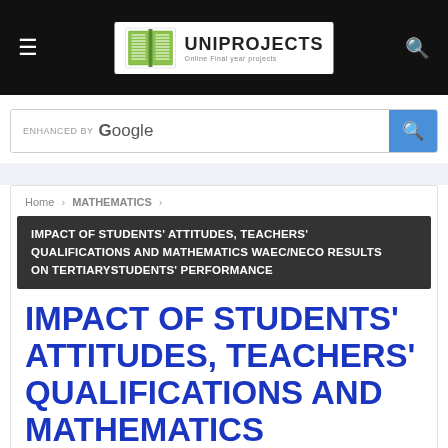[Figure (logo): Uniprojects logo with open book icon and text 'UNIPROJECTS Online Final year projects' on a black navigation bar]
[Figure (screenshot): Search bar with 'enhanced by Google' label and blue search button]
Home › MATHEMATICS ›
IMPACT OF STUDENTS' ATTITUDES, TEACHERS' QUALIFICATIONS AND MATHEMATICS WAEC/NECO RESULTS ON TERTIARYSTUDENTS' PERFORMANCE
IMPACT OF STUDENTS' ATTITUDES, TEACHERS' QUALIFICATIONS AND MATHEMATICS WAEC/NECO